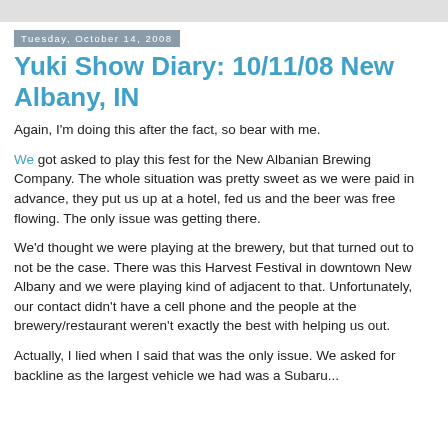Tuesday, October 14, 2008
Yuki Show Diary: 10/11/08 New Albany, IN
Again, I'm doing this after the fact, so bear with me.
We got asked to play this fest for the New Albanian Brewing Company. The whole situation was pretty sweet as we were paid in advance, they put us up at a hotel, fed us and the beer was free flowing. The only issue was getting there.
We'd thought we were playing at the brewery, but that turned out to not be the case. There was this Harvest Festival in downtown New Albany and we were playing kind of adjacent to that. Unfortunately, our contact didn't have a cell phone and the people at the brewery/restaurant weren't exactly the best with helping us out.
Actually, I lied when I said that was the only issue. We asked for backline as the largest vehicle we had was a Subaru...